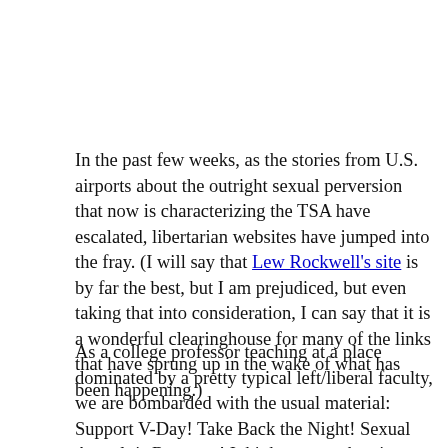In the past few weeks, as the stories from U.S. airports about the outright sexual perversion that now is characterizing the TSA have escalated, libertarian websites have jumped into the fray. (I will say that Lew Rockwell's site is by far the best, but I am prejudiced, but even taking that into consideration, I can say that it is a wonderful clearinghouse for many of the links that have sprung up in the wake of what has been happening.)
As a college professor teaching at a place dominated by a pretty typical left/liberal faculty, we are bombarded with the usual material: Support V-Day! Take Back the Night! Sexual Assault is Rampant! I think you get the picture, and while it is not as bad where I work as, say, Duke University (which can afford to have a gaggle of leftist "Identity Studies" f [icons] that are utterly